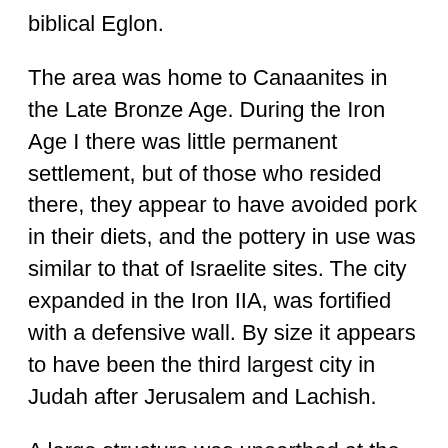biblical Eglon.
The area was home to Canaanites in the Late Bronze Age. During the Iron Age I there was little permanent settlement, but of those who resided there, they appear to have avoided pork in their diets, and the pottery in use was similar to that of Israelite sites. The city expanded in the Iron IIA, was fortified with a defensive wall. By size it appears to have been the third largest city in Judah after Jerusalem and Lachish.
A large structure was unearthed at the top of the mound of Tel ‘Eton. The structure appears to have been occupied by an elite dweller. Its site at the highest point indicates its importance. The building was constructed with a ‘four-room’ house plan of three long rooms backed by a